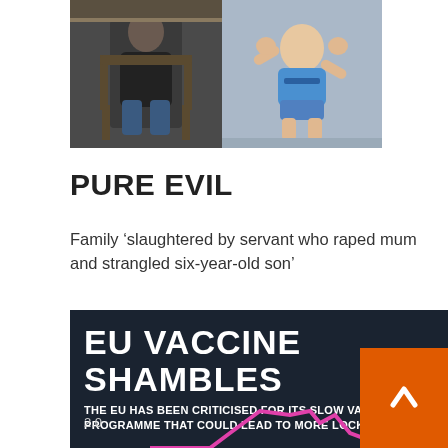[Figure (photo): Two photos side by side: left shows a person sitting on a chair, right shows a child on the floor]
PURE EVIL
Family ‘slaughtered by servant who raped mum and strangled six-year-old son’
Mrs Merkel and Mr Macron are facing mutinies at home after warning of lockdown lasting months more.
Boris Johnson has said virtually all restrictions will be lifted in England by June 21.
[Figure (infographic): EU Vaccine Shambles infographic: dark background, large white bold text 'EU VACCINE SHAMBLES', subtext 'THE EU HAS BEEN CRITICISED FOR ITS SLOW VACCINATION PROGRAMME THAT COULD LEAD TO MORE LOCKDOWNS', chart showing 2.0 marker and partial pink line graph, orange button with up arrow]